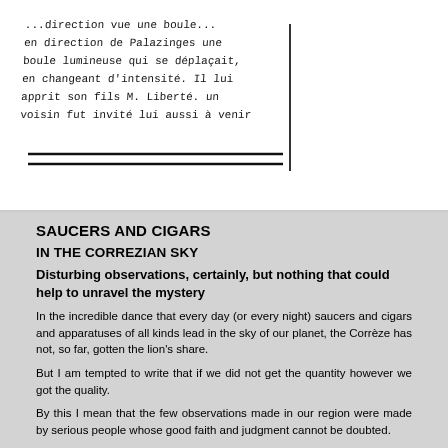[Figure (photo): Handwritten text in French, partially legible, showing cursive handwriting. Text appears to reference directions, a ball/sphere, and mentions 'M. Liberté'. Two horizontal lines appear at the bottom of the handwritten section.]
SAUCERS AND CIGARS
IN THE CORREZIAN SKY
Disturbing observations, certainly, but nothing that could help to unravel the mystery
In the incredible dance that every day (or every night) saucers and cigars and apparatuses of all kinds lead in the sky of our planet, the Corrèze has not, so far, gotten the lion's share.
But I am tempted to write that if we did not get the quantity however we got the quality.
By this I mean that the few observations made in our region were made by serious people whose good faith and judgment cannot be doubted.